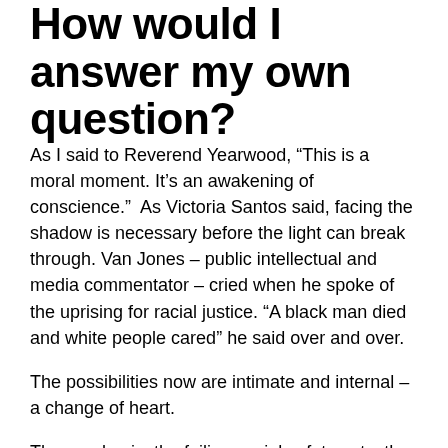How would I answer my own question?
As I said to Reverend Yearwood, “This is a moral moment. It’s an awakening of conscience.”  As Victoria Santos said, facing the shadow is necessary before the light can break through. Van Jones – public intellectual and media commentator – cried when he spoke of the uprising for racial justice. “A black man died and white people cared” he said over and over.
The possibilities now are intimate and internal – a change of heart.
The pandemic, the failing social safety nets, the inability of our leaders to protect us, and the underclass rising up will hopefully be the kind of shock that gets global society to tilt towards